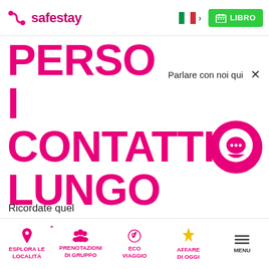safestay — LIBRO
PERSO I CONTATTI LUNGO LA STRADA
Parlare con noi qui ×
Ricordate quel
ESPLORA LE LOCALITÀ  PRENOTAZIONI DI GRUPPO  ECO VIAGGIO  AFFARE DI OGGI  MENU